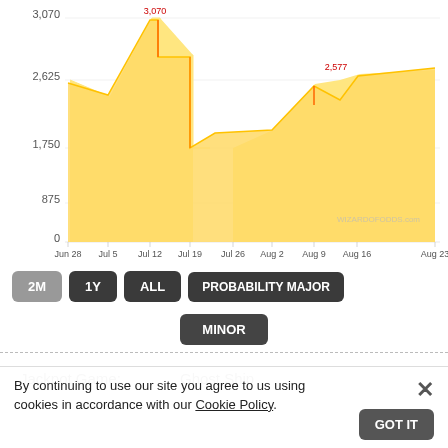[Figure (area-chart): Jackpot History Chart]
2M | 1Y | ALL | PROBABILITY MAJOR | MINOR
Jackpot Game: Ghost Ship
By continuing to use our site you agree to us using cookies in accordance with our Cookie Policy.